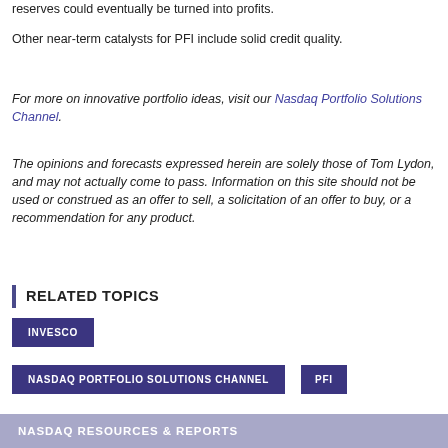reserves could eventually be turned into profits.
Other near-term catalysts for PFI include solid credit quality.
For more on innovative portfolio ideas, visit our Nasdaq Portfolio Solutions Channel.
The opinions and forecasts expressed herein are solely those of Tom Lydon, and may not actually come to pass. Information on this site should not be used or construed as an offer to sell, a solicitation of an offer to buy, or a recommendation for any product.
RELATED TOPICS
INVESCO
NASDAQ PORTFOLIO SOLUTIONS CHANNEL
PFI
NASDAQ RESOURCES & REPORTS